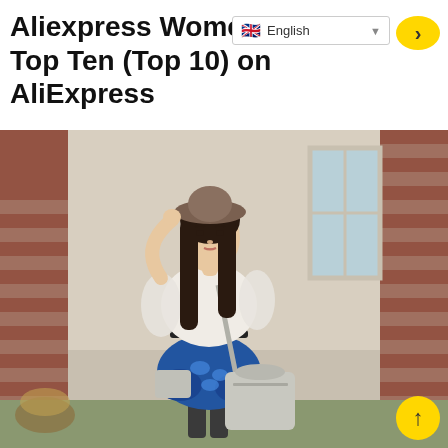English (language selector)
Aliexpress Womens Bags Top Ten (Top 10) on AliExpress
[Figure (photo): A young woman wearing a wide-brim hat, white chiffon blouse, blue patterned skirt, and carrying a large grey shoulder bag, standing in front of a brick wall with a window.]